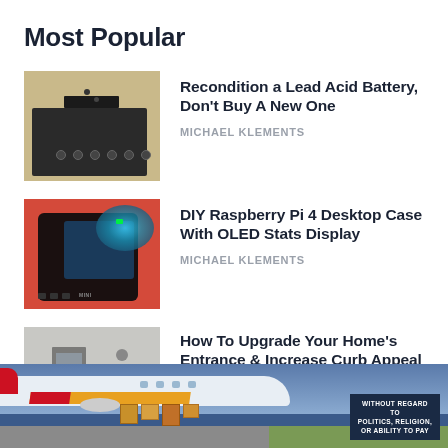Most Popular
[Figure (photo): Photo of a black lead acid battery with screws and holes on top, on a tan/beige surface]
Recondition a Lead Acid Battery, Don't Buy A New One
MICHAEL KLEMENTS
[Figure (photo): Photo of a DIY Raspberry Pi 4 desktop case with OLED display, dark cube-shaped case on orange-red background]
DIY Raspberry Pi 4 Desktop Case With OLED Stats Display
MICHAEL KLEMENTS
[Figure (photo): Photo of a home entrance with grey walls, a glass door, and green plants]
How To Upgrade Your Home's Entrance & Increase Curb Appeal
MICHAEL KLEMENTS
[Figure (photo): Advertisement banner showing an airplane being loaded with cargo, with text WITHOUT REGARD TO POLITICS, RELIGION, OR ABILITY TO PAY]